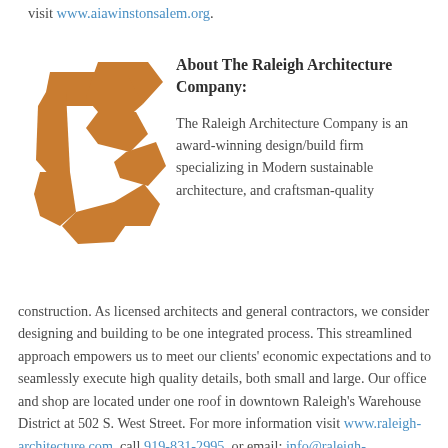visit www.aiawinstonsalem.org.
[Figure (logo): Raleigh Architecture Company orange logo mark resembling a stylized letter R or architectural S-shape made of angular orange/amber pieces]
About The Raleigh Architecture Company:
The Raleigh Architecture Company is an award-winning design/build firm specializing in Modern sustainable architecture, and craftsman-quality construction. As licensed architects and general contractors, we consider designing and building to be one integrated process. This streamlined approach empowers us to meet our clients' economic expectations and to seamlessly execute high quality details, both small and large. Our office and shop are located under one roof in downtown Raleigh's Warehouse District at 502 S. West Street. For more information visit www.raleigh-architecture.com, call 919-831-2995, or email: info@raleigh-